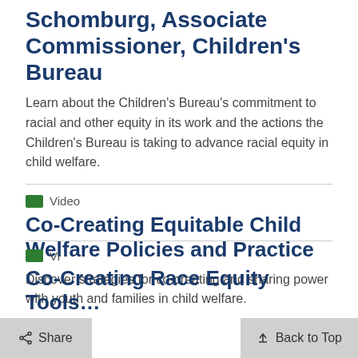Schomburg, Associate Commissioner, Children's Bureau
Learn about the Children's Bureau's commitment to racial and other equity in its work and the actions the Children's Bureau is taking to advance racial equity in child welfare.
Video
Co-Creating Equitable Child Welfare Policies and Practice
Discover strategies for co-creating and sharing power with youth and families in child welfare.
Video
Co-Creating Race Equity Tools…
Share
Back to Top